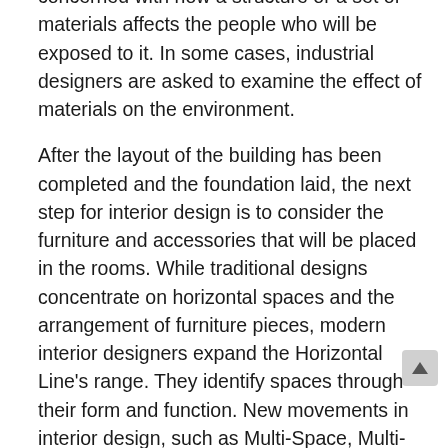concerned with how a structure or a set of materials affects the people who will be exposed to it. In some cases, industrial designers are asked to examine the effect of materials on the environment.
After the layout of the building has been completed and the foundation laid, the next step for interior design is to consider the furniture and accessories that will be placed in the rooms. While traditional designs concentrate on horizontal spaces and the arrangement of furniture pieces, modern interior designers expand the Horizontal Line's range. They identify spaces through their form and function. New movements in interior design, such as Multi-Space, Multi-Purpose, and Mixed Use allow more freedom and innovation in interior environments.
Lighting, while often overlooked in the design process, is an integral part of good interior design. Not only does good lighting enhance an interior environment, but it also makes the spaces in the room visible at all times. Good